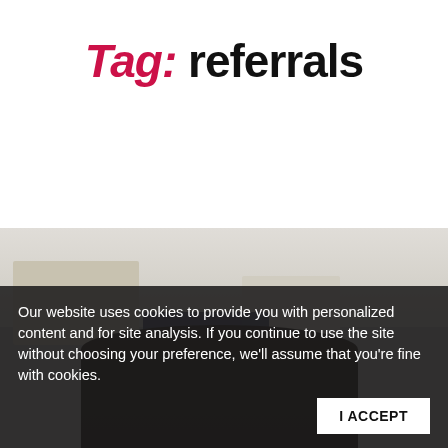Tag: referrals
[Figure (photo): A person wearing sunglasses photographed from below, with blurred architectural buildings in the background against a light grey sky.]
Our website uses cookies to provide you with personalized content and for site analysis. If you continue to use the site without choosing your preference, we'll assume that you're fine with cookies.
I ACCEPT